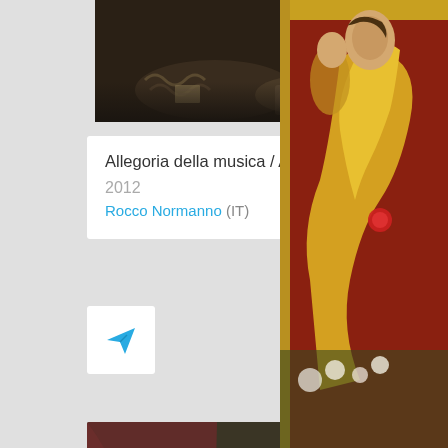[Figure (photo): Top portion of dark classical painting - Allegoria della musica, partially visible, dark background with chains and figures]
Allegoria della musica / Allegory of music
2012
Rocco Normanno (IT)
16033
18
[Figure (illustration): Share/send button icon - blue paper airplane on white card]
[Figure (photo): Second classical painting - scene with figures in architectural setting with arched doorway]
[Figure (photo): Right panel - Romeo and Juliet painting by Ford Madox, 1870, showing figures in yellow/golden scene]
Romeo and
1870
Ford Madox
(GB)